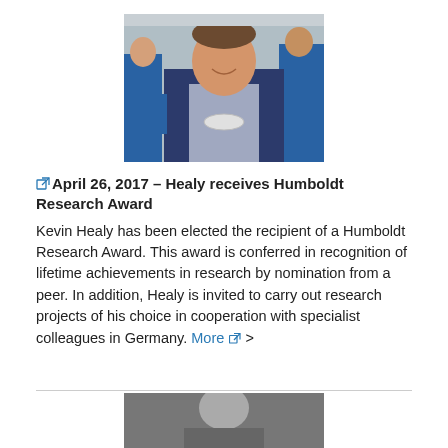[Figure (photo): Photo of Kevin Healy smiling, holding a petri dish in a laboratory setting, with students in blue lab coats in the background.]
April 26, 2017 – Healy receives Humboldt Research Award
Kevin Healy has been elected the recipient of a Humboldt Research Award. This award is conferred in recognition of lifetime achievements in research by nomination from a peer. In addition, Healy is invited to carry out research projects of his choice in cooperation with specialist colleagues in Germany. More >
[Figure (photo): Partially visible photo at the bottom of the page, appears to show a person.]